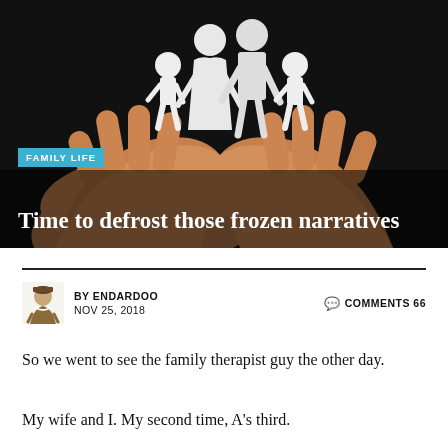[Figure (photo): Hands cupped together holding white paper cutout figures of a family (two adults and two children) against a dark background]
FAMILY LIFE
Time to defrost those frozen narratives
BY ENDARDOO   NOV 25, 2018   COMMENTS 66
So we went to see the family therapist guy the other day.
My wife and I. My second time, A’s third.